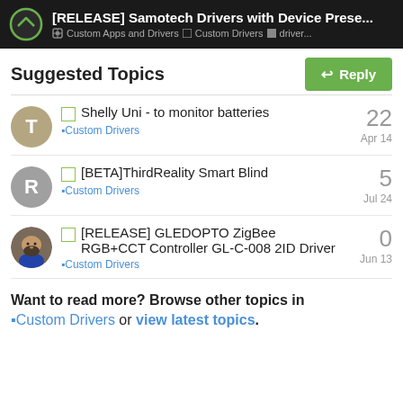[RELEASE] Samotech Drivers with Device Prese... | Custom Apps and Drivers | Custom Drivers | driver...
Suggested Topics
Shelly Uni - to monitor batteries | Custom Drivers | 22 | Apr 14
[BETA]ThirdReality Smart Blind | Custom Drivers | 5 | Jul 24
[RELEASE] GLEDOPTO ZigBee RGB+CCT Controller GL-C-008 2ID Driver | Custom Drivers | 0 | Jun 13
Want to read more? Browse other topics in ↵Custom Drivers or view latest topics.